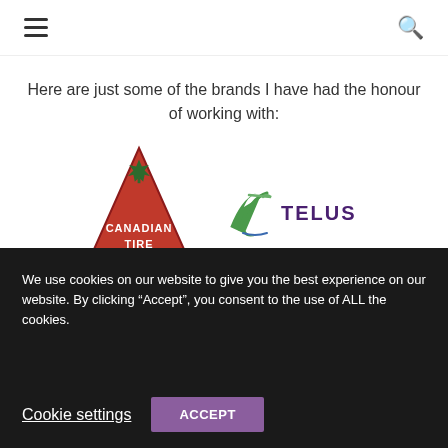Navigation bar with hamburger menu and search icon
Here are just some of the brands I have had the honour of working with:
[Figure (logo): Canadian Tire logo — red inverted triangle with green maple leaf and white text 'CANADIAN TIRE']
[Figure (logo): TELUS logo — stylized italic 't' in green/blue with 'TELUS' in purple text]
We use cookies on our website to give you the best experience on our website. By clicking “Accept”, you consent to the use of ALL the cookies.
Cookie settings
ACCEPT